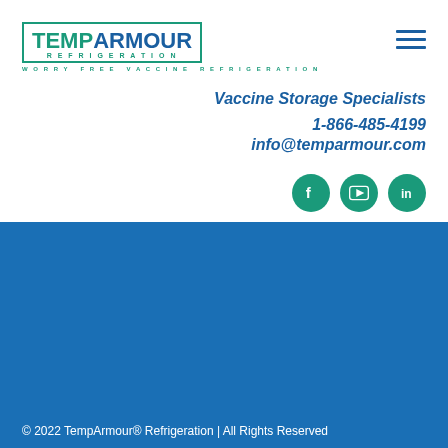[Figure (logo): TempArmour Refrigeration logo with teal and dark blue text, bordered box, tagline WORRY FREE VACCINE REFRIGERATION]
Vaccine Storage Specialists
1-866-485-4199
info@temparmour.com
[Figure (infographic): Three green circle social media icons: Facebook, YouTube, LinkedIn (top area)]
[Figure (infographic): Three white circle social media icons on blue background: Facebook, YouTube, LinkedIn (bottom area)]
© 2022 TempArmour® Refrigeration | All Rights Reserved